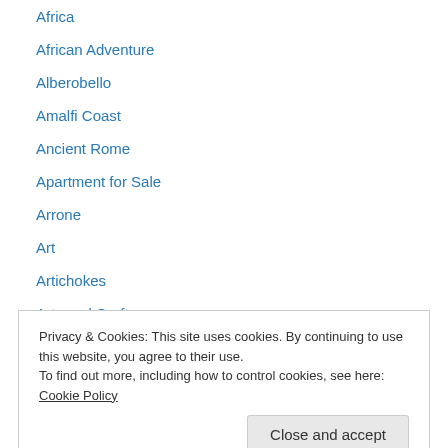Africa
African Adventure
Alberobello
Amalfi Coast
Ancient Rome
Apartment for Sale
Arrone
Art
Artichokes
Arts and Crafts
Australia
Autostrada
Baroque architecture
Privacy & Cookies: This site uses cookies. By continuing to use this website, you agree to their use. To find out more, including how to control cookies, see here: Cookie Policy
Brindisi